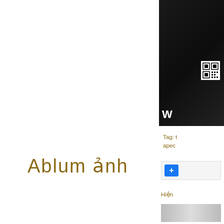Ablum ảnh
[Figure (photo): Dark background photo with a 'W' letter visible at the bottom left, and a QR code in the upper portion. Appears to be a sidebar image on a Vietnamese website.]
Tag: t apec
[Figure (other): Blue Facebook like/share button with a plus icon]
Hiện
[Figure (photo): Small partially visible thumbnail image at the bottom of the sidebar]